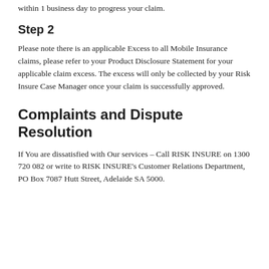within 1 business day to progress your claim.
Step 2
Please note there is an applicable Excess to all Mobile Insurance claims, please refer to your Product Disclosure Statement for your applicable claim excess. The excess will only be collected by your Risk Insure Case Manager once your claim is successfully approved.
Complaints and Dispute Resolution
If You are dissatisfied with Our services – Call RISK INSURE on 1300 720 082 or write to RISK INSURE's Customer Relations Department, PO Box 7087 Hutt Street, Adelaide SA 5000.